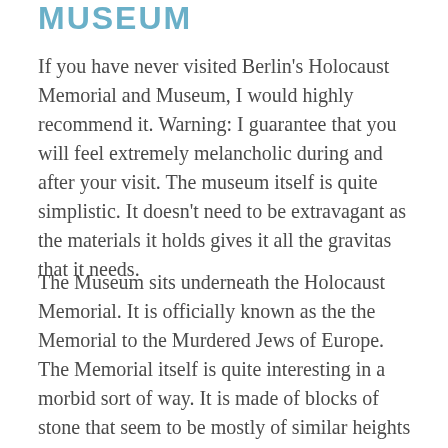MUSEUM
If you have never visited Berlin's Holocaust Memorial and Museum, I would highly recommend it. Warning: I guarantee that you will feel extremely melancholic during and after your visit. The museum itself is quite simplistic. It doesn't need to be extravagant as the materials it holds gives it all the gravitas that it needs.
The Museum sits underneath the Holocaust Memorial. It is officially known as the the Memorial to the Murdered Jews of Europe. The Memorial itself is quite interesting in a morbid sort of way. It is made of blocks of stone that seem to be mostly of similar heights in a grid pattern that one can walk through. The stone is grey and, even in sunlight, makes its surroundings look darker than they actually are. It is only once you walk